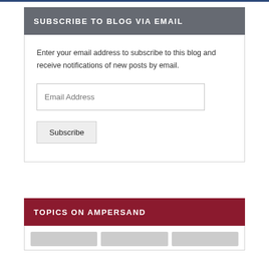SUBSCRIBE TO BLOG VIA EMAIL
Enter your email address to subscribe to this blog and receive notifications of new posts by email.
TOPICS ON AMPERSAND